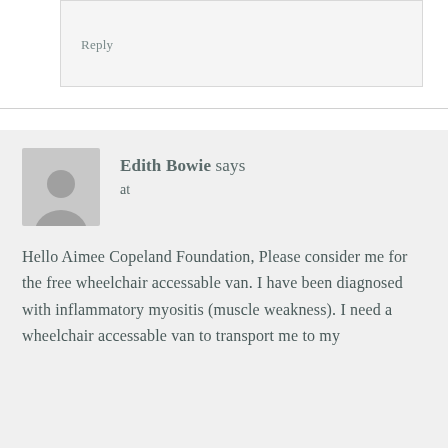Reply
Edith Bowie says
at
Hello Aimee Copeland Foundation, Please consider me for the free wheelchair accessable van. I have been diagnosed with inflammatory myositis (muscle weakness). I need a wheelchair accessable van to transport me to my